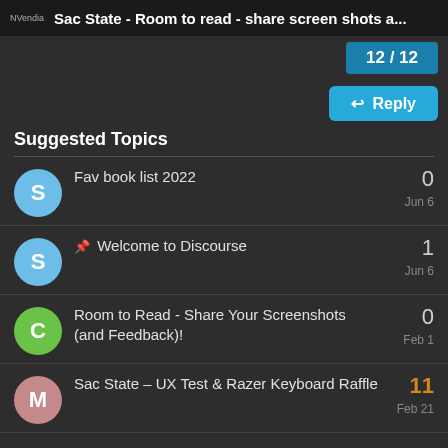NVendia   Sac State - Room to read - share screen shots a...
12 / 12
↩ Reply
Suggested Topics
Fav book list 2022  0  Jun 6
📌 Welcome to Discourse  1  Jun 6
Room to Read - Share Your Screenshots (and Feedback)!  0  Feb 1
Sac State – UX Test & Razer Keyboard Raffle  11  Feb 21